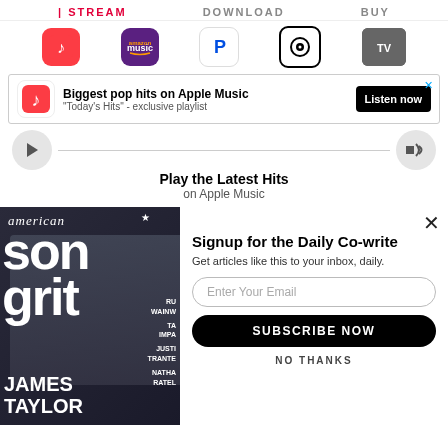[Figure (screenshot): Top bar with STREAM, DOWNLOAD, BUY labels and music streaming service icons: Apple Music, Amazon Music, Pandora, Qobuz, and a TV icon]
[Figure (screenshot): Apple Music advertisement banner: Biggest pop hits on Apple Music, Today's Hits - exclusive playlist, with Listen now button]
Play the Latest Hits
on Apple Music
[Figure (photo): American Songwriter magazine cover featuring James Taylor on a dark background, with sidebar text mentioning RU WAINW, TAM IMPA, JUSTI TRANTER, NATHA RATEL]
Signup for the Daily Co-write
Get articles like this to your inbox, daily.
Enter Your Email
SUBSCRIBE NOW
NO THANKS